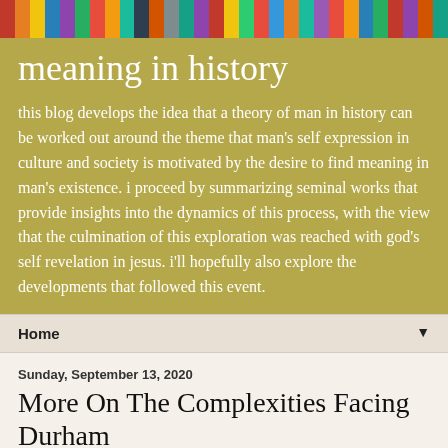[Figure (photo): Colorful book spines on a bookshelf, serving as a decorative header image for a blog]
meaning in history
this blog develops the idea that a theory of man in history can be worked out around the theme that man's self expression in culture and society is motivated by the desire to find meaning in man's existence. i proceed by summarizing seminal works that provide insights into the dynamics of this process, with the view that the culmination of this exploration was reached with god's self revelation in jesus. i'll hopefully also explore the developments that followed this event.
Home ▼
Sunday, September 13, 2020
More On The Complexities Facing Durham
The resignation of a key aide to John Durham--Nora Dannehy--has